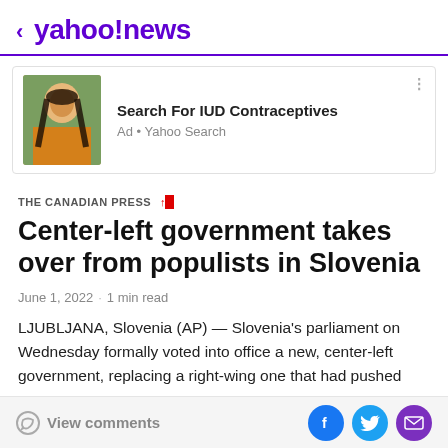< yahoo!news
[Figure (screenshot): Advertisement banner with photo of a young woman with long dark hair wearing a yellow sweater, outdoors. Ad text: Search For IUD Contraceptives. Ad · Yahoo Search]
THE CANADIAN PRESS
Center-left government takes over from populists in Slovenia
June 1, 2022 · 1 min read
LJUBLJANA, Slovenia (AP) — Slovenia's parliament on Wednesday formally voted into office a new, center-left government, replacing a right-wing one that had pushed
View comments